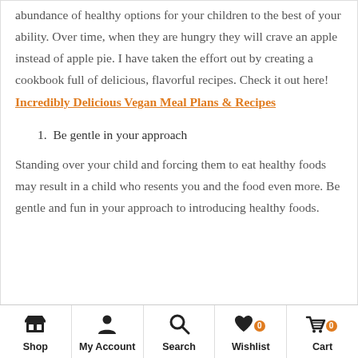abundance of healthy options for your children to the best of your ability. Over time, when they are hungry they will crave an apple instead of apple pie. I have taken the effort out by creating a cookbook full of delicious, flavorful recipes. Check it out here! Incredibly Delicious Vegan Meal Plans & Recipes
1. Be gentle in your approach
Standing over your child and forcing them to eat healthy foods may result in a child who resents you and the food even more. Be gentle and fun in your approach to introducing healthy foods.
Shop | My Account | Search | Wishlist | Cart